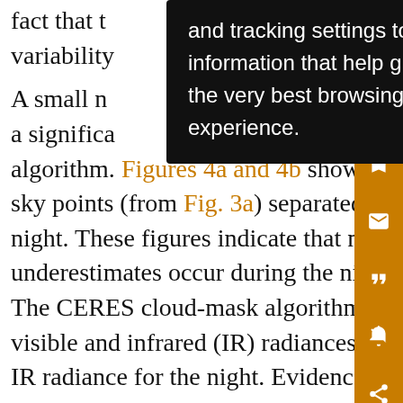fact that the … and tracking settings to store information that help give you the very best browsing experience. variability …
A small number … indicate a significant … te algorithm. Figures 4a and 4b show scatterplots for clear sky points (from Fig. 3a) separated between day and night. These figures indicate that many more underestimates occur during the night than during the day. The CERES cloud-mask algorithm is based on both visible and infrared (IR) radiances for the day and only IR radiance for the night. Evidence suggests that a number of nighttime footprints with low clouds are identified as clear by the IR-only cloud algorithm (P. Minnis 2003, personal communication), which results in an underestimation of satellite-derived surface LW fluxes. While ground-based measurements of cloud amount are